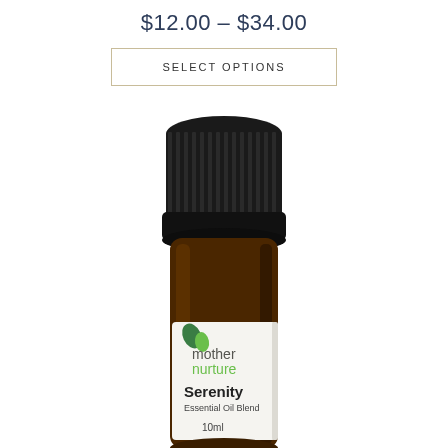$12.00 – $34.00
SELECT OPTIONS
[Figure (photo): A small amber glass bottle of Mother Nurture Serenity Essential Oil Blend 10ml with a black ribbed dropper cap. The white label shows two green leaves logo, 'mother nurture' in grey and green text, 'Serenity' in bold, 'Essential Oil Blend' below it, and '10ml' at the bottom.]